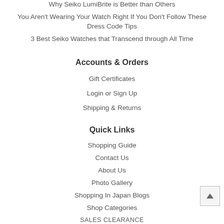Why Seiko LumiBrite is Better than Others
You Aren't Wearing Your Watch Right If You Don't Follow These Dress Code Tips
3 Best Seiko Watches that Transcend through All Time
Accounts & Orders
Gift Certificates
Login or Sign Up
Shipping & Returns
Quick Links
Shopping Guide
Contact Us
About Us
Photo Gallery
Shopping In Japan Blogs
Shop Categories
SALES CLEARANCE